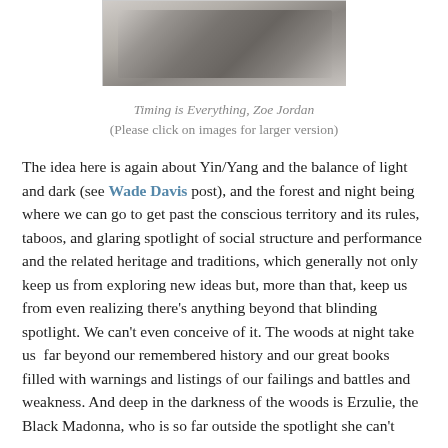[Figure (photo): Black and white photograph, partially visible at top of page, showing what appears to be a figure in dramatic lighting]
Timing is Everything, Zoe Jordan
(Please click on images for larger version)
The idea here is again about Yin/Yang and the balance of light and dark (see Wade Davis post), and the forest and night being where we can go to get past the conscious territory and its rules, taboos, and glaring spotlight of social structure and performance and the related heritage and traditions, which generally not only keep us from exploring new ideas but, more than that, keep us from even realizing there's anything beyond that blinding spotlight. We can't even conceive of it. The woods at night take us  far beyond our remembered history and our great books filled with warnings and listings of our failings and battles and weakness. And deep in the darkness of the woods is Erzulie, the Black Madonna, who is so far outside the spotlight she can't